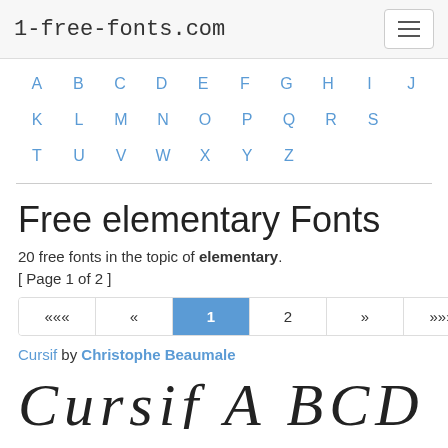1-free-fonts.com
A B C D E F G H I J
K L M N O P Q R S
T U V W X Y Z
Free elementary Fonts
20 free fonts in the topic of elementary.
[ Page 1 of 2 ]
«« « 1 2 » »»
Cursif by Christophe Beaumale
[Figure (illustration): Cursif font preview showing cursive script letters]